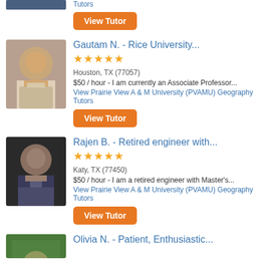[Figure (photo): Partial view of tutor photo at top of page]
Tutors
View Tutor
[Figure (photo): Photo of Gautam N., a male tutor, sitting in a car]
Gautam N. - Rice University...
★★★★★
Houston, TX (77057)
$50 / hour - I am currently an Associate Professor...
View Prairie View A & M University (PVAMU) Geography Tutors
View Tutor
[Figure (photo): Photo of Rajen B., a bald male tutor wearing glasses and a suit]
Rajen B. - Retired engineer with...
★★★★★
Katy, TX (77450)
$50 / hour - I am a retired engineer with Master's...
View Prairie View A & M University (PVAMU) Geography Tutors
View Tutor
[Figure (photo): Partial photo of Olivia N. at bottom of page]
Olivia N. - Patient, Enthusiastic...